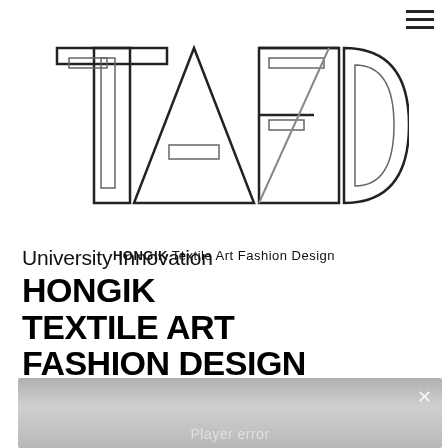[Figure (logo): TAFD logo — block letters T, A, F, D outlined in a geometric style, arranged in a square composition]
HONGIK Textile Art Fashion Design
University Innovation
HONGIK
TEXTILE ART
FASHION DESIGN
[Figure (screenshot): Video player area with grey gradient background showing Player error message and close (×) button]